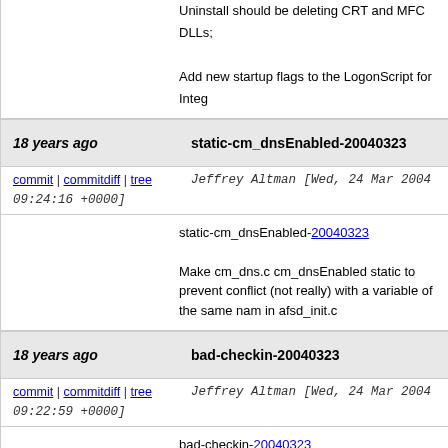Uninstall should be deleting CRT and MFC DLLs;
Add new startup flags to the LogonScript for Integ
18 years ago   static-cm_dnsEnabled-20040323
commit | commitdiff | tree   Jeffrey Altman [Wed, 24 Mar 2004 09:24:16 +0000]
static-cm_dnsEnabled-20040323

Make cm_dns.c cm_dnsEnabled static to prevent conflict (not really) with a variable of the same name in afsd_init.c
18 years ago   bad-checkin-20040323
commit | commitdiff | tree   Jeffrey Altman [Wed, 24 Mar 2004 09:22:59 +0000]
bad-checkin-20040323

bad checkin
18 years ago   sunx86-59-sysname-id-20040324
commit | commitdiff | tree   Derrick Brashear [Wed, 24 Mar 2004